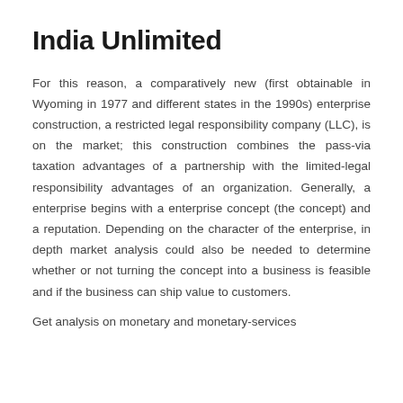India Unlimited
For this reason, a comparatively new (first obtainable in Wyoming in 1977 and different states in the 1990s) enterprise construction, a restricted legal responsibility company (LLC), is on the market; this construction combines the pass-via taxation advantages of a partnership with the limited-legal responsibility advantages of an organization. Generally, a enterprise begins with a enterprise concept (the concept) and a reputation. Depending on the character of the enterprise, in depth market analysis could also be needed to determine whether or not turning the concept into a business is feasible and if the business can ship value to customers.
Get analysis on monetary and monetary-services